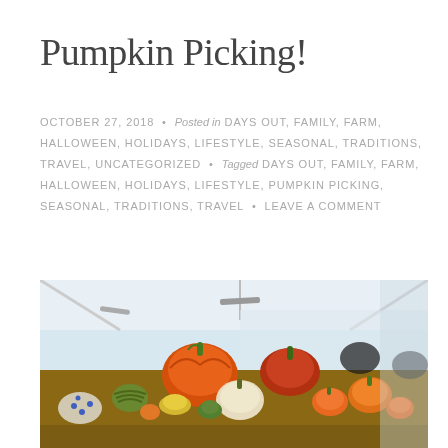Pumpkin Picking!
OCTOBER 27, 2018 • Posted in DAYS OUT, FAMILY, FARM, HALLOWEEN, HOLIDAYS, LIFESTYLE, SEASONAL, TRADITIONS, TRAVEL, UNCATEGORIZED • Tagged DAYS OUT, FAMILY, FARM, HALLOWEEN, HOLIDAYS, LIFESTYLE, PUMPKIN PICKING, SEASONAL, TRADITIONS, TRAVEL • LEAVE A COMMENT
[Figure (photo): A large display of colorful pumpkins and gourds of various sizes and varieties under a white tent/greenhouse structure]